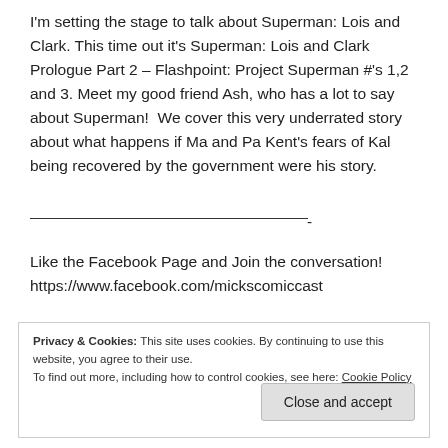I'm setting the stage to talk about Superman: Lois and Clark. This time out it's Superman: Lois and Clark Prologue Part 2 – Flashpoint: Project Superman #'s 1,2 and 3. Meet my good friend Ash, who has a lot to say about Superman!  We cover this very underrated story about what happens if Ma and Pa Kent's fears of Kal being recovered by the government were his story.
Like the Facebook Page and Join the conversation! https://www.facebook.com/mickscomiccast
Privacy & Cookies: This site uses cookies. By continuing to use this website, you agree to their use.
To find out more, including how to control cookies, see here: Cookie Policy